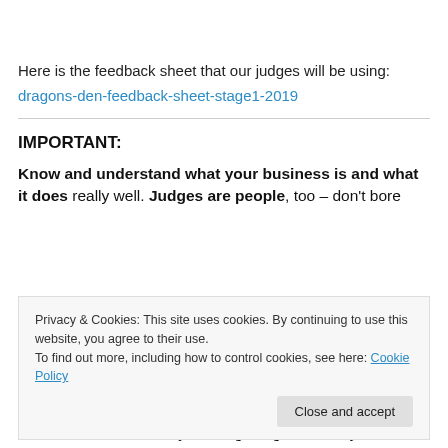Here is the feedback sheet that our judges will be using:
dragons-den-feedback-sheet-stage1-2019
IMPORTANT:
Know and understand what your business is and what it does really well. Judges are people, too – don’t bore
Privacy & Cookies: This site uses cookies. By continuing to use this website, you agree to their use.
To find out more, including how to control cookies, see here: Cookie Policy
about costs and where you are getting the money from. Be